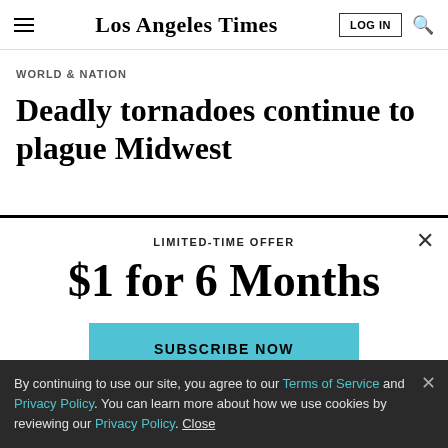Los Angeles Times
WORLD & NATION
Deadly tornadoes continue to plague Midwest
LIMITED-TIME OFFER
$1 for 6 Months
SUBSCRIBE NOW
By continuing to use our site, you agree to our Terms of Service and Privacy Policy. You can learn more about how we use cookies by reviewing our Privacy Policy. Close